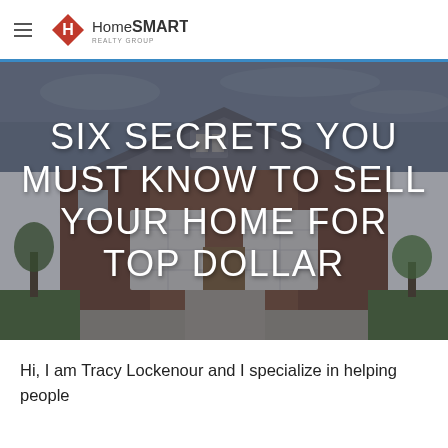HomeSmart Realty Group — Navigation
[Figure (photo): Exterior photo of a large brick house with two-car garage, gray roof, and concrete driveway, overlaid with semi-transparent dark filter]
SIX SECRETS YOU MUST KNOW TO SELL YOUR HOME FOR TOP DOLLAR
Hi, I am Tracy Lockenour and I specialize in helping people